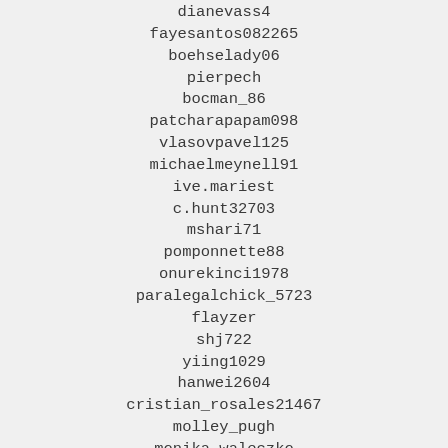dianevass4
fayesantos082265
boehselady06
pierpech
bocman_86
patcharapapam098
vlasovpavel125
michaelmeynell91
ive.mariest
c.hunt32703
mshari71
pomponnette88
onurekinci1978
paralegalchick_5723
flayzer
shj722
yiing1029
hanwei2604
cristian_rosales21467
molley_pugh
monika_waleczko
khorava5522
jarmo53
mittani1017